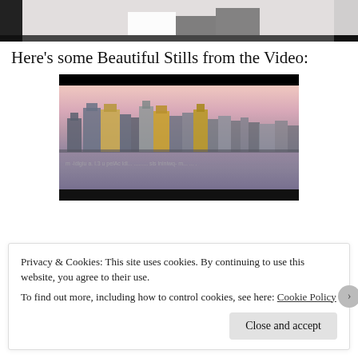[Figure (photo): Partial top photo showing people, cropped at top of page]
Here's some Beautiful Stills from the Video:
[Figure (photo): Video still showing a city skyline at dusk/sunset reflected on water, with buildings silhouetted against a pink/purple sky. Black bars at top and bottom of frame. Watermark text visible across the water.]
Privacy & Cookies: This site uses cookies. By continuing to use this website, you agree to their use.
To find out more, including how to control cookies, see here: Cookie Policy